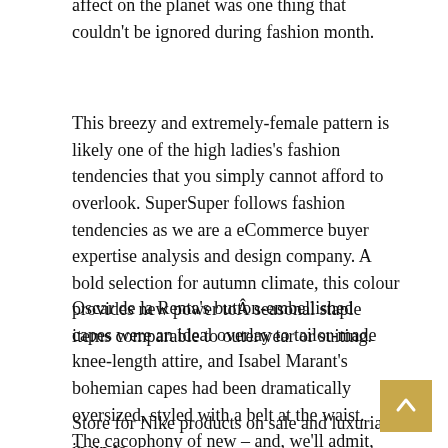affect on the planet was one thing that couldn't be ignored during fashion month.
This breezy and extremely-female pattern is likely one of the high ladies's fashion tendencies that you simply cannot afford to overlook. SuperSuper follows fashion tendencies as we are a eCommerce buyer expertise analysis and design company. A bold selection for autumn climate, this colour provides new power toÂ seasonal staple items comparable to outerwear or suiting.
Oscar de la Renta's button-embellished capes were an ideal overlay to tailor-made knee-length attire, and Isabel Marant's bohemian capes had been dramatically oversized, styled with a belt at the waist. The cacophony of new – and, we'll admit, generally confusing – trends appeared to reflect the chaos of the each day information.
Store for Nike products on sale and luxuriate in up to